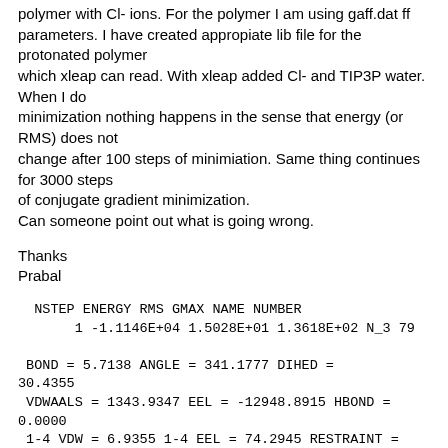polymer with Cl- ions. For the polymer I am using gaff.dat ff parameters. I have created appropiate lib file for the protonated polymer
which xleap can read. With xleap added Cl- and TIP3P water. When I do
minimization nothing happens in the sense that energy (or RMS) does not
change after 100 steps of minimiation. Same thing continues for 3000 steps
of conjugate gradient minimization.
Can someone point out what is going wrong.
Thanks
Prabal
NSTEP ENERGY RMS GMAX NAME NUMBER
     1 -1.1146E+04 1.5028E+01 1.3618E+02 N_3 79

 BOND = 5.7138 ANGLE = 341.1777 DIHED =
30.4355
 VDWAALS = 1343.9347 EEL = -12948.8915 HBOND =
0.0000
 1-4 VDW = 6.9355 1-4 EEL = 74.2945 RESTRAINT =
0.0000
NSTEP ENERGY RMS GMAX NAME NUMBER